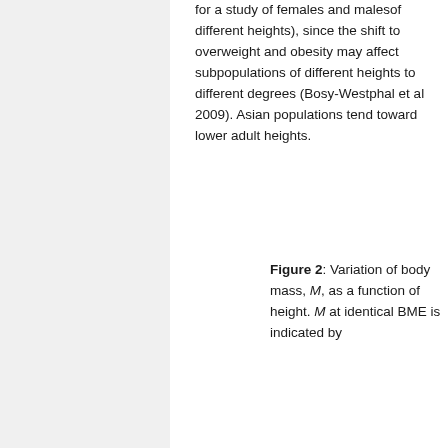for a study of females and malesof different heights), since the shift to overweight and obesity may affect subpopulations of different heights to different degrees (Bosy-Westphal et al 2009). Asian populations tend toward lower adult heights.
Figure 2: Variation of body mass, M, as a function of height. M at identical BME is indicated by